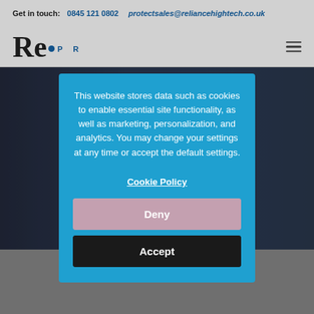Get in touch: 0845 121 0802 protectsales@reliancehightech.co.uk
[Figure (logo): Reliance High Tech logo with stylized R and blue dot, with P R text below]
[Figure (photo): Hero background image showing technology devices with dark overlay]
This website stores data such as cookies to enable essential site functionality, as well as marketing, personalization, and analytics. You may change your settings at any time or accept the default settings.
Cookie Policy
Deny
Accept